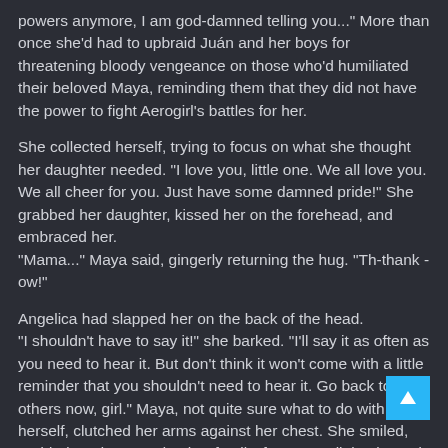powers anymore, I am god-damned telling you..." More than once she'd had to upbraid Juán and her boys for threatening bloody vengeance on those who'd humiliated their beloved Maya, reminding them that they did not have the power to fight Aerogirl's battles for her.
She collected herself, trying to focus on what she thought her daughter needed. "I love you, little one. We all love you. We all cheer for you. Just have some damned pride!" She grabbed her daughter, kissed her on the forehead, and embraced her.
"Mama..." Maya said, gingerly returning the hug. "Th-thank - ow!"
Angelica had slapped her on the back of the head.
"I shouldn't have to say it!" she barked. "I'll say it as often as you need to hear it. But don't think it won't come with a little reminder that you shouldn't need to hear it. Go back to the others now, girl." Maya, not quite sure what to do with herself, clutched her arms against her chest. She smiled, nodded, and returned to her family, for once a little pleased that she was Aerogirl, as well as Maya Cierra.